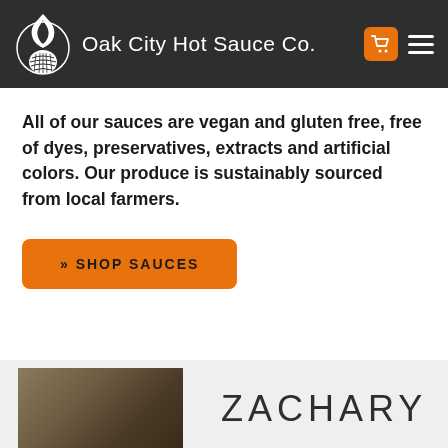Oak City Hot Sauce Co.
All of our sauces are vegan and gluten free, free of dyes, preservatives, extracts and artificial colors. Our produce is sustainably sourced from local farmers.
» SHOP SAUCES
ZACHARY